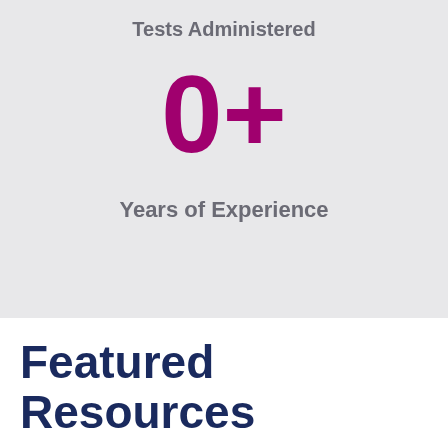Tests Administered
0+
Years of Experience
Featured Resources